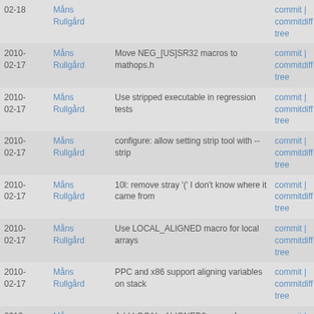| Date | Author | Message | Links |
| --- | --- | --- | --- |
| 2010-02-18 | Måns Rullgård |  | commit | commitdiff | tree |
| 2010-02-17 | Måns Rullgård | Move NEG_[US]SR32 macros to mathops.h | commit | commitdiff | tree |
| 2010-02-17 | Måns Rullgård | Use stripped executable in regression tests | commit | commitdiff | tree |
| 2010-02-17 | Måns Rullgård | configure: allow setting strip tool with --strip | commit | commitdiff | tree |
| 2010-02-17 | Måns Rullgård | 10l: remove stray '(' I don't know where it came from | commit | commitdiff | tree |
| 2010-02-17 | Måns Rullgård | Use LOCAL_ALIGNED macro for local arrays | commit | commitdiff | tree |
| 2010-02-17 | Måns Rullgård | PPC and x86 support aligning variables on stack | commit | commitdiff | tree |
| 2010- | Måns | Add LOCAL_ALIGNED0 macro for | commit | |